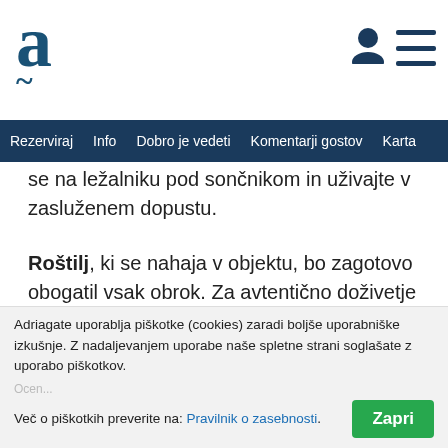a~ [logo] with user icon and menu icon
Rezerviraj | Info | Dobro je vedeti | Komentarji gostov | Karta
se na ležalniku pod sončnikom in uživajte v zasluženem dopustu.
Roštilj, ki se nahaja v objektu, bo zagotovo obogatil vsak obrok. Za avtentično doživetje Mediterana priporočamo, da pripravite ribo, za recept za najbolj enostavno pripravo po povprašajte domačine...
Poglej več ˅
Dobro je vedeti
Adriagate uporablja piškotke (cookies) zaradi boljše uporabniške izkušnje. Z nadaljevanjem uporabe naše spletne strani soglašate z uporabo piškotkov.
Več o piškotkih preverite na: Pravilnik o zasebnosti.
Zapri